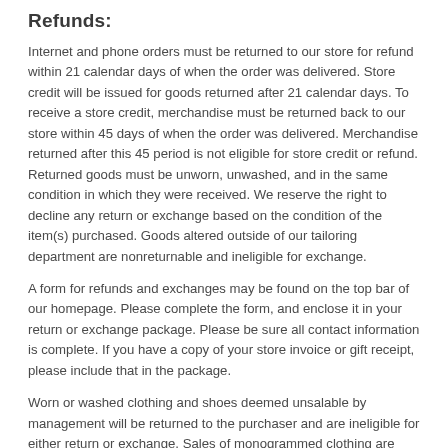Refunds:
Internet and phone orders must be returned to our store for refund within 21 calendar days of when the order was delivered. Store credit will be issued for goods returned after 21 calendar days. To receive a store credit, merchandise must be returned back to our store within 45 days of when the order was delivered. Merchandise returned after this 45 period is not eligible for store credit or refund. Returned goods must be unworn, unwashed, and in the same condition in which they were received. We reserve the right to decline any return or exchange based on the condition of the item(s) purchased. Goods altered outside of our tailoring department are nonreturnable and ineligible for exchange.
A form for refunds and exchanges may be found on the top bar of our homepage. Please complete the form, and enclose it in your return or exchange package. Please be sure all contact information is complete. If you have a copy of your store invoice or gift receipt, please include that in the package.
Worn or washed clothing and shoes deemed unsalable by management will be returned to the purchaser and are ineligible for either return or exchange. Sales of monogrammed clothing are final. Domestic and international customers are responsible for all shipping costs, including returned postage costs. International customers are responsible for all importation tariffs and customs fees (if any) including duties, their...